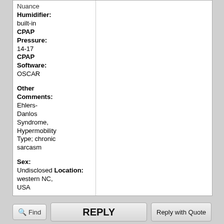Nuance
Humidifier: built-in
CPAP Pressure: 14-17
CPAP Software: OSCAR
Other Comments: Ehlers-Danlos Syndrome, Hypermobility Type; chronic sarcasm
Sex: Undisclosed
Location: western NC, USA